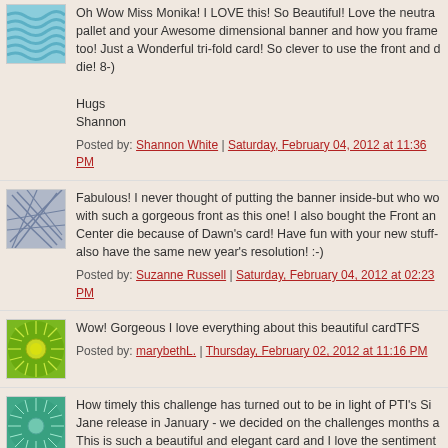[Figure (illustration): Avatar with blue wavy pattern]
Oh Wow Miss Monika! I LOVE this! So Beautiful! Love the neutral pallet and your Awesome dimensional banner and how you frame too! Just a Wonderful tri-fold card! So clever to use the front and die! 8-)

Hugs
Shannon
Posted by: Shannon White | Saturday, February 04, 2012 at 11:36 PM
[Figure (illustration): Avatar with grey abstract line pattern]
Fabulous! I never thought of putting the banner inside-but who wo with such a gorgeous front as this one! I also bought the Front an Center die because of Dawn's card! Have fun with your new stuff- also have the same new year's resolution! :-)
Posted by: Suzanne Russell | Saturday, February 04, 2012 at 02:23 PM
[Figure (illustration): Avatar with green sunburst/sun design on green background]
Wow! Gorgeous I love everything about this beautiful cardTFS
Posted by: marybethL. | Thursday, February 02, 2012 at 11:16 PM
[Figure (illustration): Avatar with teal/green sunburst pattern on teal background]
How timely this challenge has turned out to be in light of PTI's Si Jane release in January - we decided on the challenges months a This is such a beautiful and elegant card and I love the sentiment banner Nichole is shared in the MIM this week. Thanks for playing along with our challenge at APFP.
Hugs,
Caryn x
Posted by: carn | Thursday, February 02, 2012 at 02:34 PM